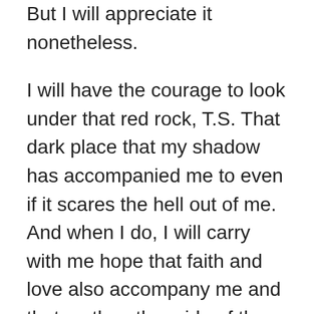But I will appreciate it nonetheless.
I will have the courage to look under that red rock, T.S. That dark place that my shadow has accompanied me to even if it scares the hell out of me.  And when I do, I will carry with me hope that faith and love also accompany me and that on the other side of the darkness is a light that shines in my own being that is so beautiful that even you can't find the words to express it.
I will not become complacent, Plato.  I will be intentional every step of the way and hold up that dream, Langston so that it doesn't fester in the sun as you so feared.  In fact, we'll carry the dream together.
I'll tell you what I'm going to do with this one precious life, Mary.  I'm going to love fiercely and bravely like each breath was my last.  I'm going to smell the fresh cut grass